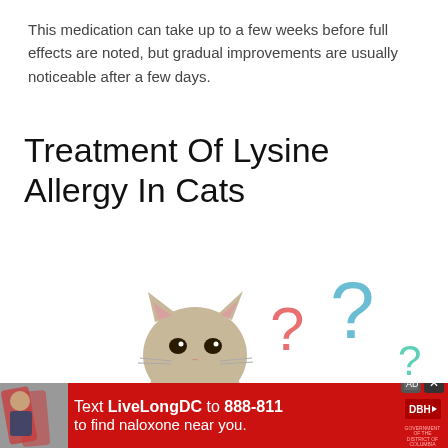This medication can take up to a few weeks before full effects are noted, but gradual improvements are usually noticeable after a few days.
Treatment Of Lysine Allergy In Cats
[Figure (photo): A gray/beige cat looking upward with its tongue slightly out, surrounded by colorful question marks (pink, blue, teal) on a white background]
Text LiveLongDC to 888-811 to find naloxone near you.